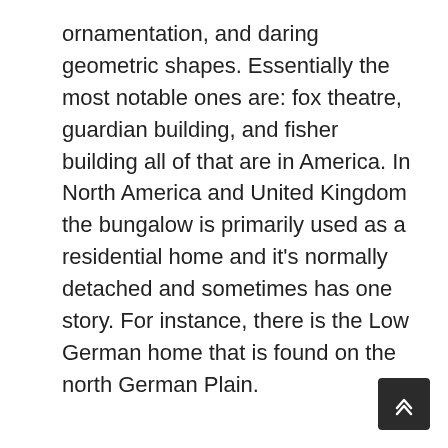ornamentation, and daring geometric shapes. Essentially the most notable ones are: fox theatre, guardian building, and fisher building all of that are in America. In North America and United Kingdom the bungalow is primarily used as a residential home and it's normally detached and sometimes has one story. For instance, there is the Low German home that is found on the north German Plain.